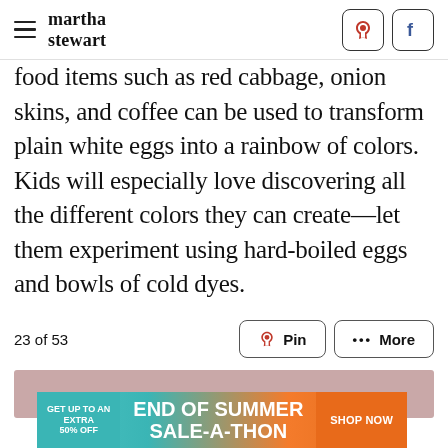martha stewart
food items such as red cabbage, onion skins, and coffee can be used to transform plain white eggs into a rainbow of colors. Kids will especially love discovering all the different colors they can create—let them experiment using hard-boiled eggs and bowls of cold dyes.
23 of 53
[Figure (screenshot): Pin and More action buttons with Pinterest logo]
[Figure (photo): Pinkish-mauve colored image area (partial article image)]
[Figure (infographic): End of Summer Sale-A-Thon advertisement banner: GET UP TO AN EXTRA 50% OFF | END OF SUMMER SALE-A-THON | SHOP NOW]